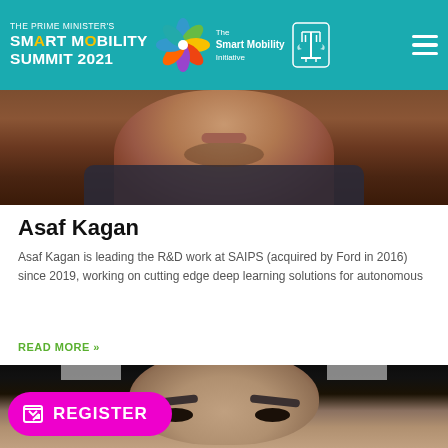THE PRIME MINISTER'S SMART MOBILITY SUMMIT 2021 | The Smart Mobility Initiative
[Figure (photo): Close-up photo (bottom portion) of a man with short beard wearing a dark shirt, partially cropped]
Asaf Kagan
Asaf Kagan is leading the R&D work at SAIPS (acquired by Ford in 2016) since 2019, working on cutting edge deep learning solutions for autonomous
READ MORE »
[Figure (photo): Close-up photo (top portion) of an older man with grey-streaked hair and prominent eyebrows on a dark background]
REGISTER